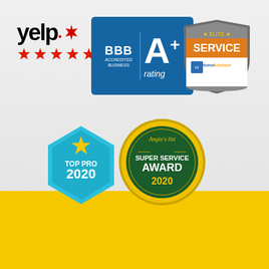[Figure (logo): Yelp logo with 5-star rating in red stars]
[Figure (logo): BBB Accredited Business A+ rating badge on blue background]
[Figure (logo): HomeAdvisor Elite Service badge]
[Figure (logo): Thumbtack Top Pro 2020 hexagon badge in blue]
[Figure (logo): Angie's List Super Service Award 2020 circular gold badge]